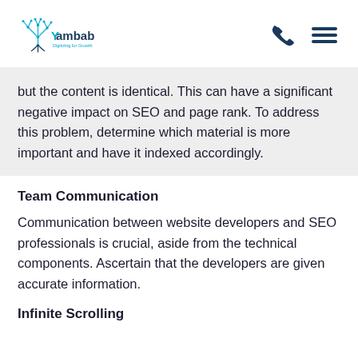[Figure (logo): Yambab logo with network tree graphic and tagline 'Digitizing for Growth']
but the content is identical. This can have a significant negative impact on SEO and page rank. To address this problem, determine which material is more important and have it indexed accordingly.
Team Communication
Communication between website developers and SEO professionals is crucial, aside from the technical components. Ascertain that the developers are given accurate information.
Infinite Scrolling